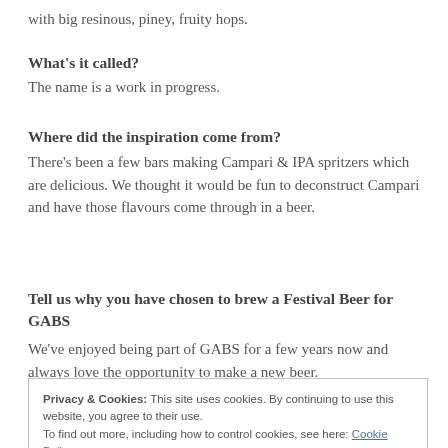with big resinous, piney, fruity hops.
What's it called?
The name is a work in progress.
Where did the inspiration come from?
There's been a few bars making Campari & IPA spritzers which are delicious. We thought it would be fun to deconstruct Campari and have those flavours come through in a beer.
Tell us why you have chosen to brew a Festival Beer for GABS
We've enjoyed being part of GABS for a few years now and always love the opportunity to make a new beer.
Privacy & Cookies: This site uses cookies. By continuing to use this website, you agree to their use. To find out more, including how to control cookies, see here: Cookie Policy